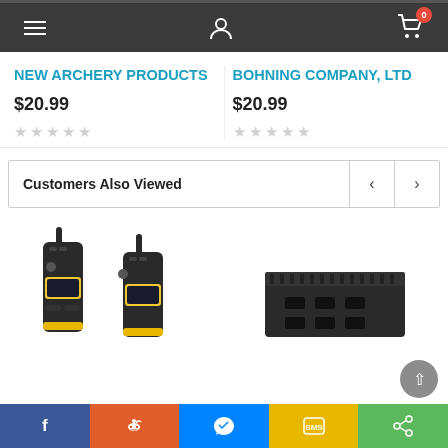Navigation bar with hamburger menu, user icon, and cart (0 items)
NEW ARCHERY PRODUCTS
$20.99
BOHNING COMPANY, LTD
$20.99
Customers Also Viewed
[Figure (photo): Two yellow and black walkie-talkies]
[Figure (photo): Black electronic device/charger]
Social share bar: Facebook, Reddit, Messenger, SMS, Share